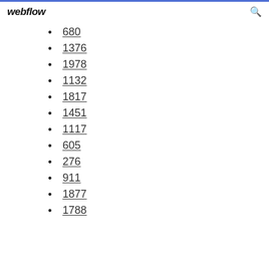webflow
680
1376
1978
1132
1817
1451
1117
605
276
911
1877
1788